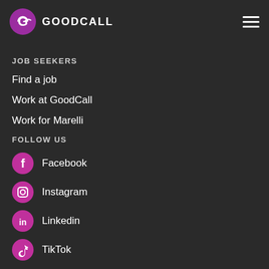GOODCALL
JOB SEEKERS
Find a job
Work at GoodCall
Work for Marelli
FOLLOW US
Facebook
Instagram
Linkedin
TikTok